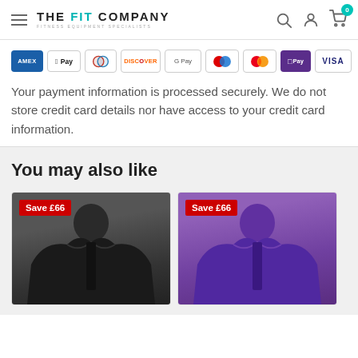THE FIT COMPANY — FITNESS EQUIPMENT SPECIALISTS
[Figure (infographic): Payment method icons: American Express, Apple Pay, Diners Club, Discover, Google Pay, Maestro, Mastercard, Samsung Pay / OPay, Visa]
Your payment information is processed securely. We do not store credit card details nor have access to your credit card information.
You may also like
[Figure (photo): Product card with 'Save £66' badge showing a black zip-up jacket]
[Figure (photo): Product card with 'Save £66' badge showing a purple zip-up jacket]